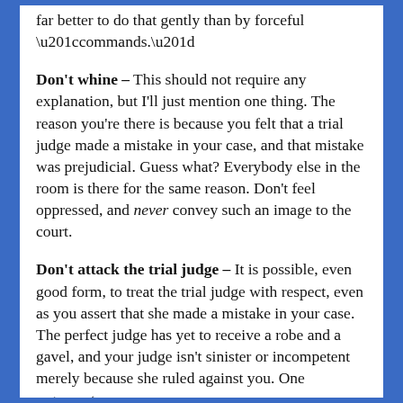far better to do that gently than by forceful “commands.”
Don’t whine – This should not require any explanation, but I’ll just mention one thing. The reason you’re there is because you felt that a trial judge made a mistake in your case, and that mistake was prejudicial. Guess what? Everybody else in the room is there for the same reason. Don’t feel oppressed, and never convey such an image to the court.
Don’t attack the trial judge – It is possible, even good form, to treat the trial judge with respect, even as you assert that she made a mistake in your case. The perfect judge has yet to receive a robe and a gavel, and your judge isn’t sinister or incompetent merely because she ruled against you. One argument